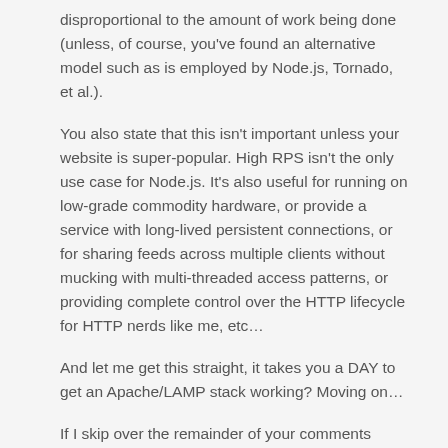disproportional to the amount of work being done (unless, of course, you've found an alternative model such as is employed by Node.js, Tornado, et al.).
You also state that this isn't important unless your website is super-popular. High RPS isn't the only use case for Node.js. It's also useful for running on low-grade commodity hardware, or provide a service with long-lived persistent connections, or for sharing feeds across multiple clients without mucking with multi-threaded access patterns, or providing complete control over the HTTP lifecycle for HTTP nerds like me, etc…
And let me get this straight, it takes you a DAY to get an Apache/LAMP stack working? Moving on…
If I skip over the remainder of your comments referring to Node.js as a language